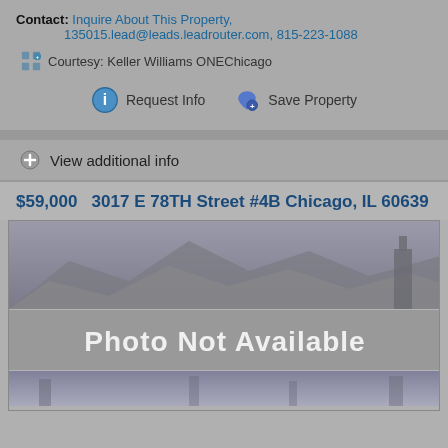Contact: Inquire About This Property, 135015.lead@leads.leadrouter.com, 815-223-1088
Courtesy: Keller Williams ONEChicago
Request Info
Save Property
View additional info
$59,000  3017 E 78TH Street #4B Chicago, IL 60639
[Figure (photo): Photo Not Available placeholder image with mountain silhouette graphic and text overlay]